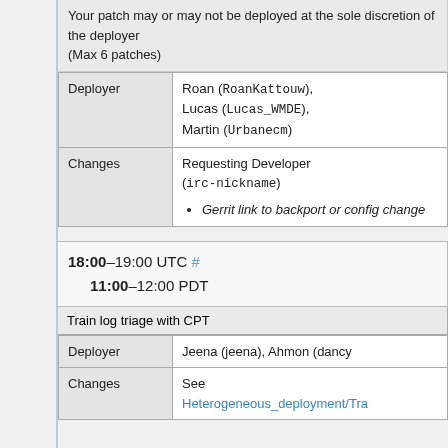Your patch may or may not be deployed at the sole discretion of the deployer
(Max 6 patches)
| Deployer | Changes |
| --- | --- |
| Deployer | Roan (RoanKattouw), Lucas (Lucas_WMDE), Martin (Urbanecm) |
| Changes | Requesting Developer (irc-nickname)
• Gerrit link to backport or config change |
18:00–19:00 UTC #
11:00–12:00 PDT
Train log triage with CPT
| Deployer | Jeena (jeena), Ahmon (dancy... |
| Changes | See Heterogeneous_deployment/Tra... |